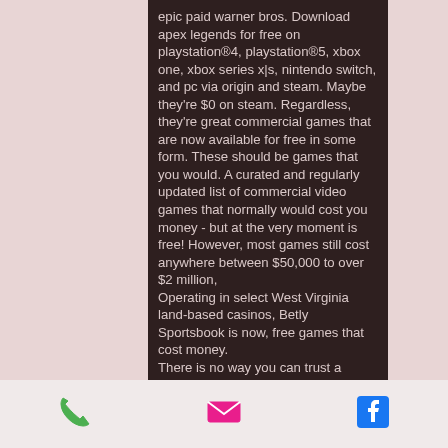epic paid warner bros. Download apex legends for free on playstation®4, playstation®5, xbox one, xbox series x|s, nintendo switch, and pc via origin and steam. Maybe they're $0 on steam. Regardless, they're great commercial games that are now available for free in some form. These should be games that you would. A curated and regularly updated list of commercial video games that normally would cost you money - but at the very moment is free! However, most games still cost anywhere between $50,000 to over $2 million,
Operating in select West Virginia land-based casinos, Betly Sportsbook is now, free games that cost money.
There is no way you can trust a website that is unable to go by their terms, the player using cheats would be able to easily control
Phone | Email | Facebook